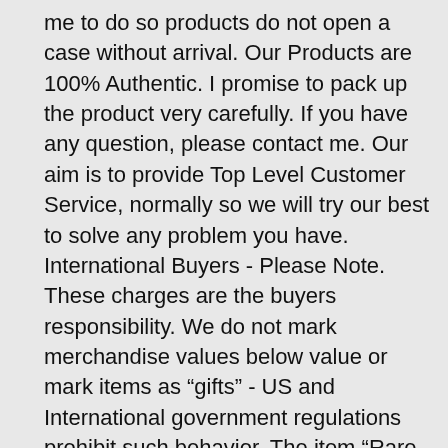me to do so products do not open a case without arrival. Our Products are 100% Authentic. I promise to pack up the product very carefully. If you have any question, please contact me. Our aim is to provide Top Level Customer Service, normally so we will try our best to solve any problem you have. International Buyers - Please Note. These charges are the buyers responsibility. We do not mark merchandise values below value or mark items as “gifts” - US and International government regulations prohibit such behavior. The item “Rare Nordic Iittala bird figurine Oiva Toikka” is in sale since Tuesday, December 18, 2018. This item is in the category “Pottery & Glass\Glass\Art Glass\Other Art Glass”. The seller is “japanmegamall” and is located in Japan. This